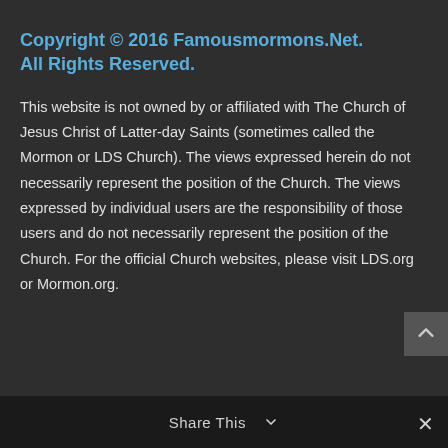Copyright © 2016 Famousmormons.Net. All Rights Reserved.
This website is not owned by or affiliated with The Church of Jesus Christ of Latter-day Saints (sometimes called the Mormon or LDS Church). The views expressed herein do not necessarily represent the position of the Church. The views expressed by individual users are the responsibility of those users and do not necessarily represent the position of the Church. For the official Church websites, please visit LDS.org or Mormon.org.
Share This ∨